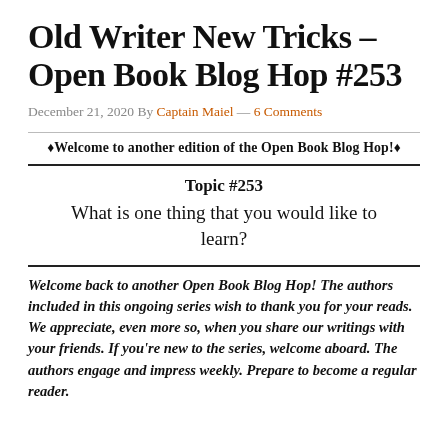Old Writer New Tricks – Open Book Blog Hop #253
December 21, 2020 By Captain Maiel — 6 Comments
♦Welcome to another edition of the Open Book Blog Hop!♦
Topic #253
What is one thing that you would like to learn?
Welcome back to another Open Book Blog Hop! The authors included in this ongoing series wish to thank you for your reads. We appreciate, even more so, when you share our writings with your friends. If you're new to the series, welcome aboard. The authors engage and impress weekly. Prepare to become a regular reader.